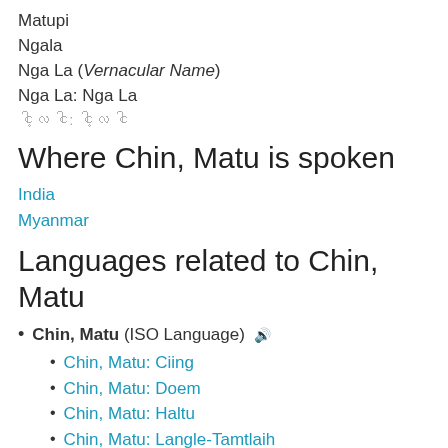Matupi
Ngala
Nga La (Vernacular Name)
Nga La: Nga La
ငါ့လ ငါ: ငါ့လ ငါ
Where Chin, Matu is spoken
India
Myanmar
Languages related to Chin, Matu
Chin, Matu (ISO Language) 🔊
Chin, Matu: Ciing
Chin, Matu: Doem
Chin, Matu: Haltu
Chin, Matu: Langle-Tamtlaih
Chin, Matu: Ngaleng
Chin, Matu: Phaneng